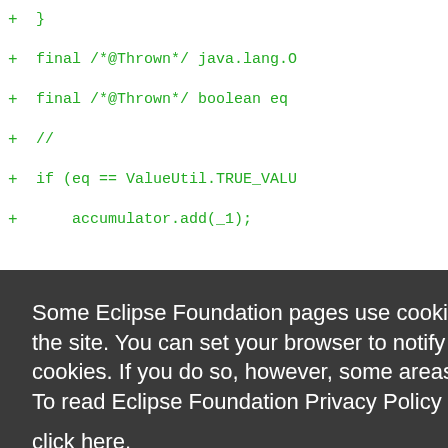+ }
+ final /*@Thrown*/ java.lang.O
+ final /*@Thrown*/ boolean eq
+ //
+ if (eq == ValueUtil.TRUE_VALU
+ accumulator.add(_1);
Some Eclipse Foundation pages use cookies to better serve you when you return to the site. You can set your browser to notify you before you receive a cookie or turn off cookies. If you do so, however, some areas of some sites may not function properly. To read Eclipse Foundation Privacy Policy
click here.
Decline
Allow cookies
+ CTORId namedElements 0.initV